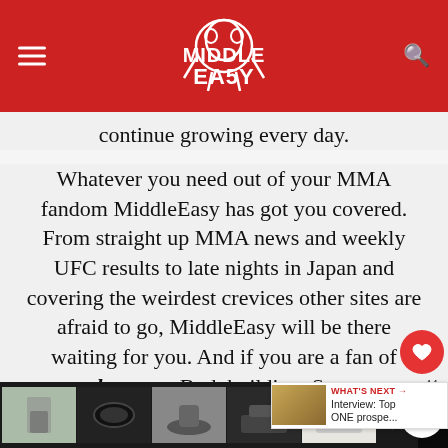MiddleEasy
continue growing every day.
Whatever you need out of your MMA fandom MiddleEasy has got you covered. From straight up MMA news and weekly UFC results to late nights in Japan and covering the weirdest crevices other sites are afraid to go, MiddleEasy will be there waiting for you. And if you are a fan of strength sports: Bodybuilding, Strongman, Powerlifting and CrossFit, visit our friends at FitnessVolt.com
[Figure (screenshot): Advertisement strip showing product thumbnails at the bottom of the page]
[Figure (infographic): What's Next promo banner: Interview: Top ONE prospe...]